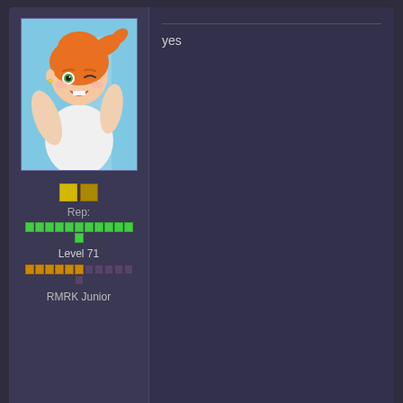[Figure (illustration): Anime-style avatar of Misty from Pokemon with orange hair in a side ponytail, winking, wearing white top]
Rep:
Level 71
RMRK Junior
yes
D&P3
#25 • Apr 25, 2012
[Figure (illustration): Pixel art of a black cat-like Pokemon (Houndour) with white stripes]
Looks good, I gave the demo version a try
When I run it, it literally eats away at the ma which forced my computers productivity to